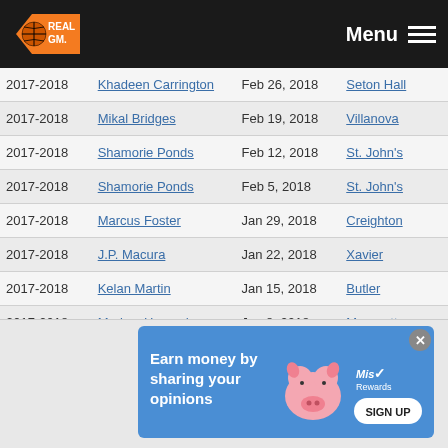RealGM — Menu
| Season | Player | Date | Team |
| --- | --- | --- | --- |
| 2017-2018 | Khadeen Carrington | Feb 26, 2018 | Seton Hall |
| 2017-2018 | Mikal Bridges | Feb 19, 2018 | Villanova |
| 2017-2018 | Shamorie Ponds | Feb 12, 2018 | St. John's |
| 2017-2018 | Shamorie Ponds | Feb 5, 2018 | St. John's |
| 2017-2018 | Marcus Foster | Jan 29, 2018 | Creighton |
| 2017-2018 | J.P. Macura | Jan 22, 2018 | Xavier |
| 2017-2018 | Kelan Martin | Jan 15, 2018 | Butler |
| 2017-2018 | Markus Howard | Jan 8, 2018 | Marquette |
| 2017-2018 | Kelan Martin | Jan 2, 2018 | Butler |
| 2017-2018 | Marcus Foster | Dec 26, 2017 | Creighton |
| 2017-2018 | Jalen Brunson | Dec 18, 2017 | Villanova |
| 2017-2018 | ... | ... | Seton Hall |
| 2016-2017 | ... | Dec 26, 2017 | Butler |
[Figure (infographic): Advertisement: Earn money by sharing your opinions — Miso Rewards, Sign Up button]